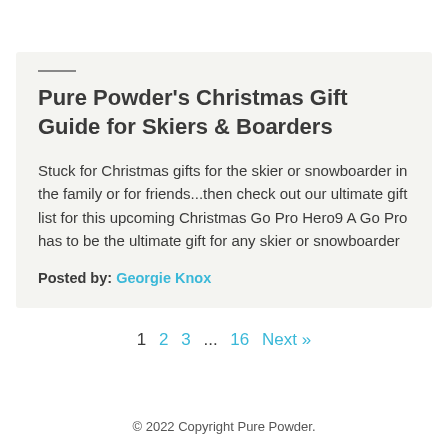Pure Powder’s Christmas Gift Guide for Skiers & Boarders
Stuck for Christmas gifts for the skier or snowboarder in the family or for friends...then check out our ultimate gift list for this upcoming Christmas Go Pro Hero9 A Go Pro has to be the ultimate gift for any skier or snowboarder
Posted by: Georgie Knox
1  2  3  ...  16  Next »
© 2022 Copyright Pure Powder.